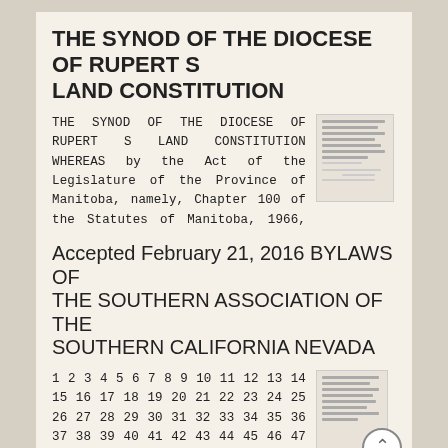THE SYNOD OF THE DIOCESE OF RUPERT S LAND CONSTITUTION
THE SYNOD OF THE DIOCESE OF RUPERT S LAND CONSTITUTION WHEREAS by the Act of the Legislature of the Province of Manitoba, namely, Chapter 100 of the Statutes of Manitoba, 1966, the Synod of the Diocese
More information
Accepted February 21, 2016 BYLAWS OF THE SOUTHERN ASSOCIATION OF THE SOUTHERN CALIFORNIA NEVADA
1 2 3 4 5 6 7 8 9 10 11 12 13 14 15 16 17 18 19 20 21 22 23 24 25 26 27 28 29 30 31 32 33 34 35 36 37 38 39 40 41 42 43 44 45 46 47 48 49 BYLAWS OF THE SOUTHERN ASSOCIATION OF THE SOUTHERN CALIFORNIA